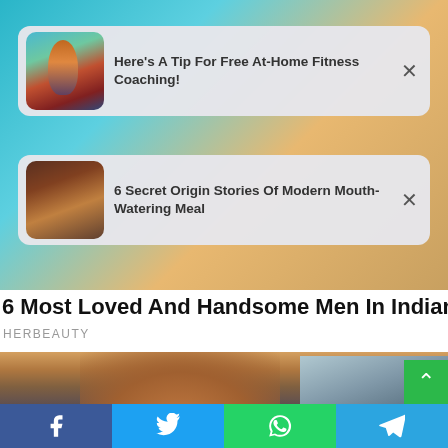[Figure (screenshot): Background photo showing a person in colorful clothing, blurred]
Here's A Tip For Free At-Home Fitness Coaching!
6 Secret Origin Stories Of Modern Mouth-Watering Meal
6 Most Loved And Handsome Men In Indian Cinema
HERBEAUTY
[Figure (photo): Woman with curly hair outdoors]
[Figure (infographic): Social share bar with Facebook, Twitter, WhatsApp, Telegram buttons]